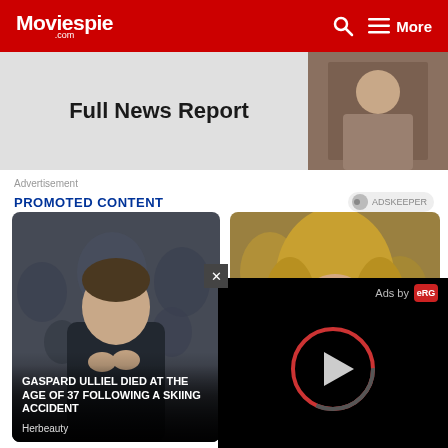Moviespie.com | More
Full News Report
Advertisement
PROMOTED CONTENT
[Figure (photo): Young man with hands clasped together at chin, dark jacket, crowd of photographers in background (Gaspard Ulliel)]
GASPARD ULLIEL DIED AT THE AGE OF 37 FOLLOWING A SKIING ACCIDENT
Herbeauty
[Figure (photo): Close-up of blonde person with blue eyes (Owen Wilson)]
WILSON'S HOLLYWOOD CALLED SU
Brainberri
[Figure (screenshot): Ad popup with X close button, 'Ads by eRG' text and a play button circle on black background]